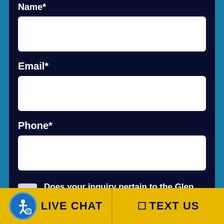Name*
[Figure (other): Empty text input field for Name]
Email*
[Figure (other): Empty text input field for Email]
Phone*
[Figure (other): Empty text input field for Phone]
Does your inquiry pertain to the Glen Mills School lawsuit?
LIVE CHAT
TEXT US